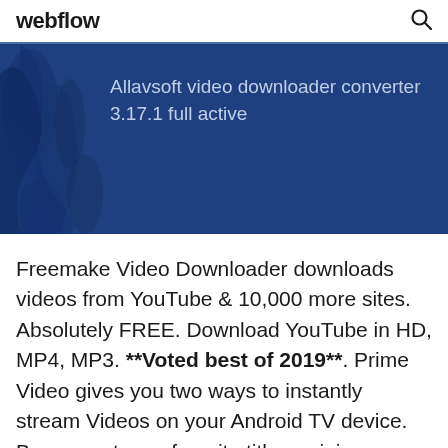webflow
[Figure (screenshot): Blue banner with decorative silhouette on the left and text 'Allavsoft video downloader converter 3.17.1 full active' on the right]
Freemake Video Downloader downloads videos from YouTube & 10,000 more sites. Absolutely FREE. Download YouTube in HD, MP4, MP3. **Voted best of 2019**. Prime Video gives you two ways to instantly stream Videos on your Android TV device. Buy or rent your favorite titles or join